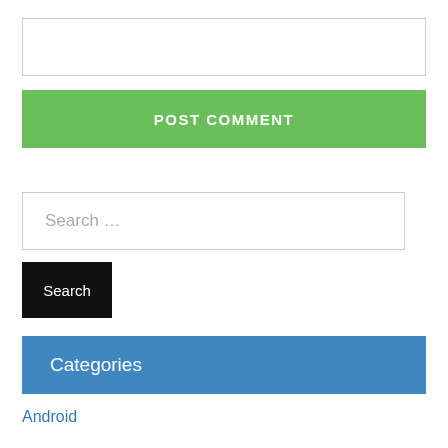POST COMMENT
Search ...
Search
Categories
Android
Huawei
iOS
iPhone